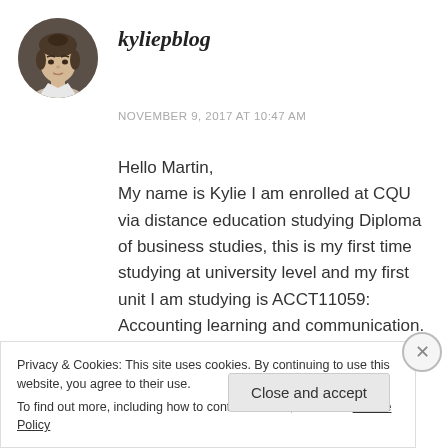[Figure (photo): Circular avatar photo of a young woman with hair pulled back, wearing a light top, dark background]
kyliepblog
NOVEMBER 9, 2017 AT 10:47 AM
Hello Martin,
My name is Kylie I am enrolled at CQU via distance education studying Diploma of business studies, this is my first time studying at university level and my first unit I am studying is ACCT11059: Accounting learning and communication. I am also new to blogging, my blog address is kyliepblog.wordpress.com.
Privacy & Cookies: This site uses cookies. By continuing to use this website, you agree to their use.
To find out more, including how to control cookies, see here: Cookie Policy
Close and accept